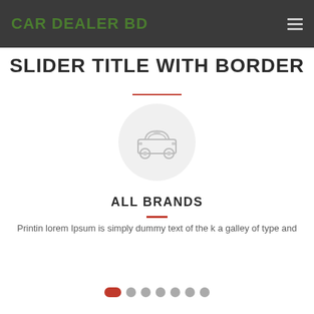CAR DEALER BD
SLIDER TITLE WITH BORDER
[Figure (illustration): Car icon inside a light gray circle]
ALL BRANDS
Printin lorem Ipsum is simply dummy text of the k a galley of type and